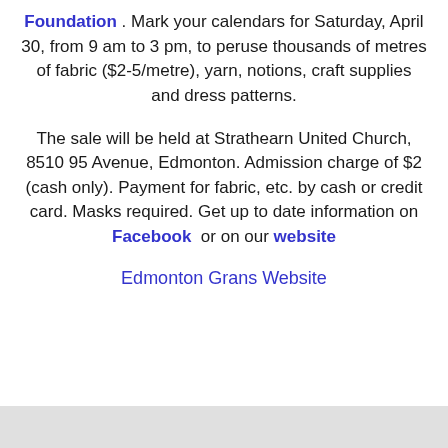Foundation . Mark your calendars for Saturday, April 30, from 9 am to 3 pm, to peruse thousands of metres of fabric ($2-5/metre), yarn, notions, craft supplies and dress patterns.
The sale will be held at Strathearn United Church, 8510 95 Avenue, Edmonton. Admission charge of $2 (cash only). Payment for fabric, etc. by cash or credit card. Masks required. Get up to date information on Facebook or on our website
Edmonton Grans Website